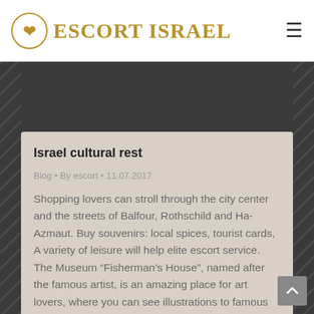ESCORT ISRAEL
[Figure (photo): Stone wall texture photo — partial view of the Western Wall or similar ancient stone wall, golden/brown tones, with dark diagonal hatch background pattern on sides.]
Israel cultural rest
Blog • By escort • 11.07.2017
Shopping lovers can stroll through the city center and the streets of Balfour, Rothschild and Ha-Azmaut. Buy souvenirs: local spices, tourist cards, A variety of leisure will help elite escort service. The Museum “Fisherman’s House”, named after the famous artist, is an amazing place for art lovers, where you can see illustrations to famous Jewish…